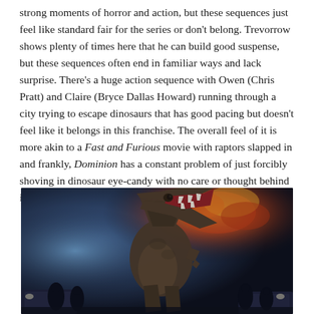strong moments of horror and action, but these sequences just feel like standard fair for the series or don't belong. Trevorrow shows plenty of times here that he can build good suspense, but these sequences often end in familiar ways and lack surprise. There's a huge action sequence with Owen (Chris Pratt) and Claire (Bryce Dallas Howard) running through a city trying to escape dinosaurs that has good pacing but doesn't feel like it belongs in this franchise. The overall feel of it is more akin to a Fast and Furious movie with raptors slapped in and frankly, Dominion has a constant problem of just forcibly shoving in dinosaur eye-candy with no care or thought behind it.
[Figure (photo): A large T-Rex dinosaur roaring with its mouth wide open in a dark, dramatic scene with cinematic lighting. The dinosaur is surrounded by cars and silhouetted people in what appears to be a nighttime urban setting, with explosions or fire visible in the background.]